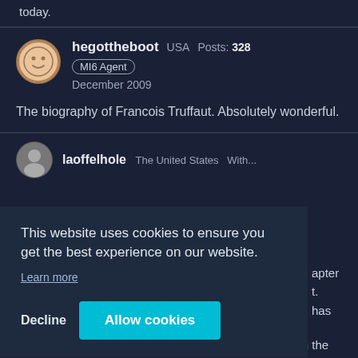today.
hegottheboot   USA   Posts: 328
MI6 Agent
December 2009

The biography of Francois Truffaut. Absolutely wonderful.
laoffe... The United States  With...
This website uses cookies to ensure you get the best experience on our website.
Learn more
Decline
Allow cookies
apter
t.
has
all the natural authenticity that can only be aspired to in the